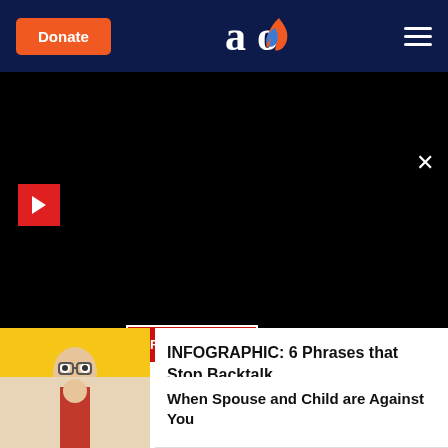Donate | [AO logo] | Menu
[Figure (screenshot): Dark video/media panel with red play button icon on left and READ MORE button in center]
[Figure (photo): Photo of child sleeping or lying down being comforted, partially visible at top of first article row]
INFOGRAPHIC: 6 Phrases that Stop Backtalk
[Figure (photo): Photo of a boy in a blue shirt on yellow background, looking surprised or yelling]
When Spouse and Child are Against You
[Figure (photo): Photo partially visible at bottom, showing person in red shirt]